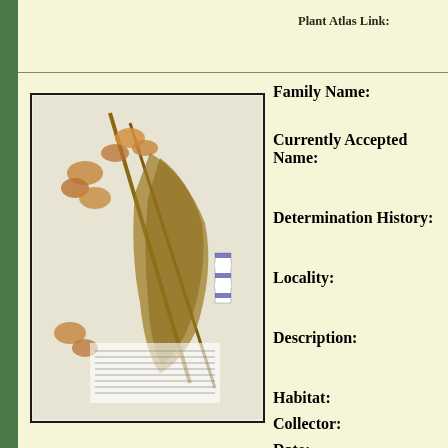Plant Atlas Link:
[Figure (photo): Herbarium specimen photograph showing dried plant with orange-brown flowers and long leaf/spathe, mounted on white herbarium sheet with scale ruler and label]
Family Name:
Currently Accepted Name:
Determination History:
Locality:
Description:
Habitat:
Collector:
Date:
Accession No: